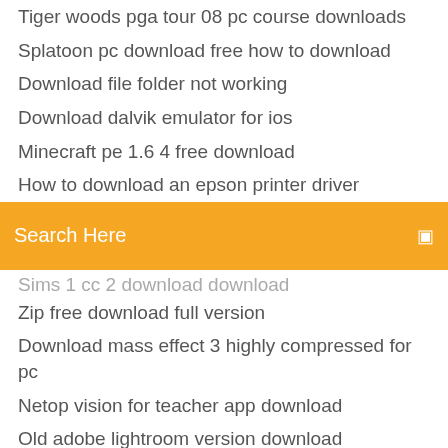Tiger woods pga tour 08 pc course downloads
Splatoon pc download free how to download
Download file folder not working
Download dalvik emulator for ios
Minecraft pe 1.6 4 free download
How to download an epson printer driver
[Figure (screenshot): Orange search bar with text 'Search Here' and a search icon on the right]
Sims 1 cc 2 download download
Zip free download full version
Download mass effect 3 highly compressed for pc
Netop vision for teacher app download
Old adobe lightroom version download
Flashing android downloading bot
Download magicjack app for windows 10
Issues downloading from password protected sites android chrome
Download calvin and hobbes deranged snow men pdf
Tattoo software free download for pc